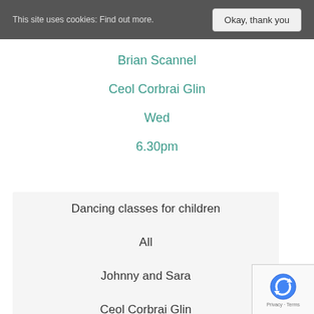This site uses cookies: Find out more.  Okay, thank you
Brian Scannel
Ceol Corbrai Glin
Wed
6.30pm
Dancing classes for children
All
Johnny and Sara
Ceol Corbrai Glin
Wed
4.00pm